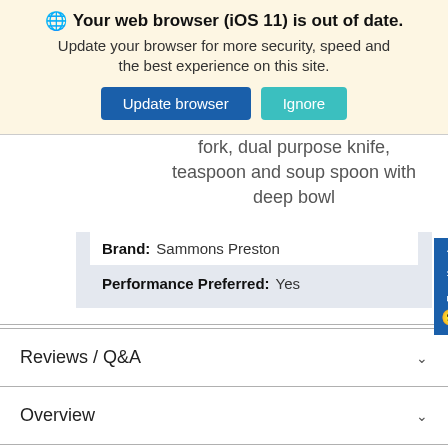Your web browser (iOS 11) is out of date. Update your browser for more security, speed and the best experience on this site.
Update browser | Ignore
fork, dual purpose knife, teaspoon and soup spoon with deep bowl
| Property | Value |
| --- | --- |
| Brand: | Sammons Preston |
| Performance Preferred: | Yes |
Reviews / Q&A
Overview